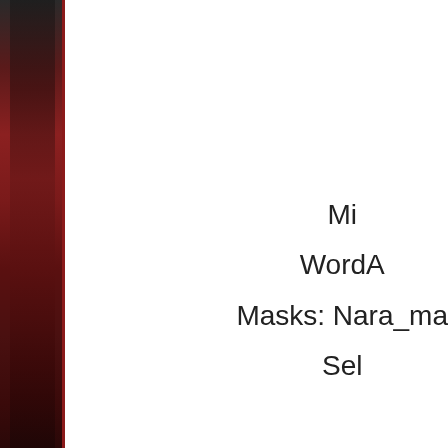[Figure (photo): Dark reddish-brown sidebar image on the left side of the page, appears to be a partially visible photograph with dark tones]
Mi
WordA
Masks: Nara_ma
Sel